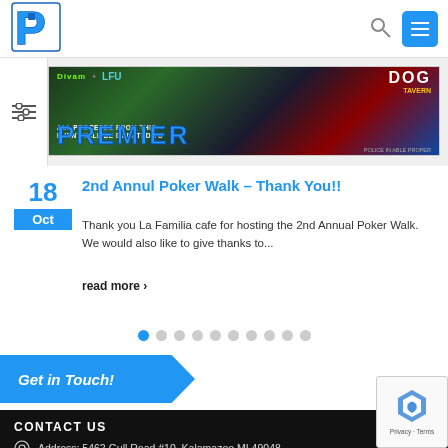Premier logo, search icon, menu button
[Figure (photo): Banner advertisement with logos: Divam, LFU, DOG Tavern. Text: ALL PROCEEDS FROM THIS EVENT WILL BE DONATED TO PREMIER. Blue Premier logo text.]
2nd Annul Poker Walk – Thank You!!
Thank you La Familia cafe for hosting the 2nd Annual Poker Walk. We would also like to give thanks to...
read more ›
Get in Touch!
CONTACT US
Address: 5462 Gull Road #10, Kalamazoo MI 49048